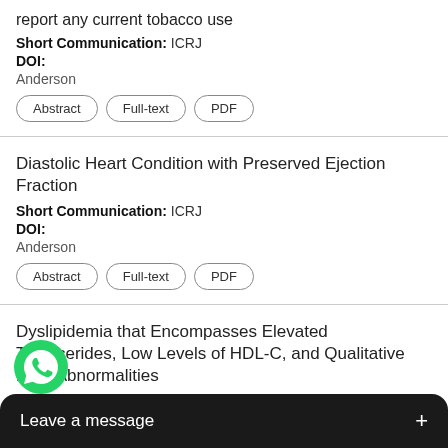report any current tobacco use
Short Communication: ICRJ
DOI:
Anderson
Abstract | Full-text | PDF
Diastolic Heart Condition with Preserved Ejection Fraction
Short Communication: ICRJ
DOI:
Anderson
Abstract | Full-text | PDF
Dyslipidemia that Encompasses Elevated Triglycerides, Low Levels of HDL-C, and Qualitative Lipid Abnormalities
Short Communication: ICRJ
Abs...